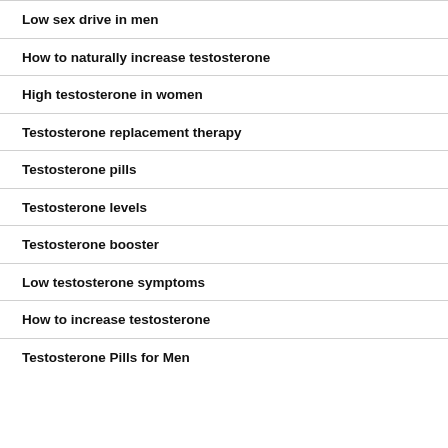Low sex drive in men
How to naturally increase testosterone
High testosterone in women
Testosterone replacement therapy
Testosterone pills
Testosterone levels
Testosterone booster
Low testosterone symptoms
How to increase testosterone
Testosterone Pills for Men